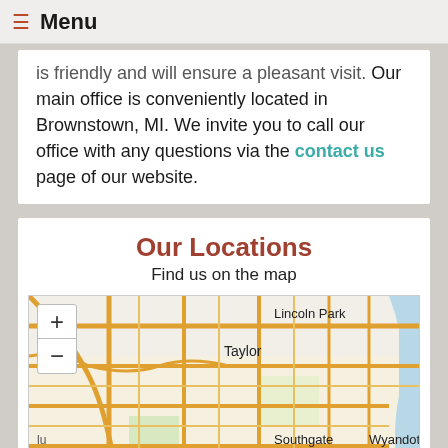Menu
is friendly and will ensure a pleasant visit. Our main office is conveniently located in Brownstown, MI. We invite you to call our office with any questions via the contact us page of our website.
Our Locations
Find us on the map
[Figure (map): Interactive street map showing Taylor, Lincoln Park, Southgate, and Wyandotte areas in Michigan, with zoom controls and an Accessibility View bar.]